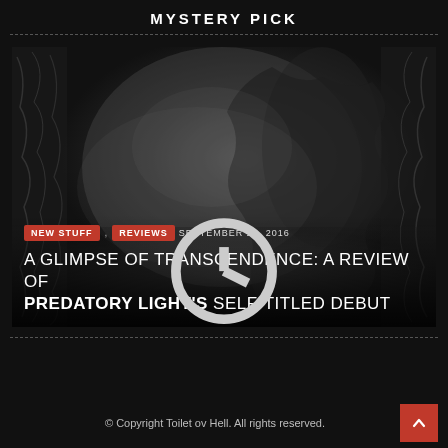MYSTERY PICK
[Figure (illustration): Dark monochromatic illustration showing a skeletal/demonic figure rendered in detailed pencil-like artwork with ornate borders on sides, with overlaid tags 'NEW STUFF', 'REVIEWS', date 'SEPTEMBER 21, 2016', and title 'A GLIMPSE OF TRANSCENDENCE: A REVIEW OF PREDATORY LIGHT'S SELF-TITLED DEBUT']
© Copyright Toilet ov Hell. All rights reserved.